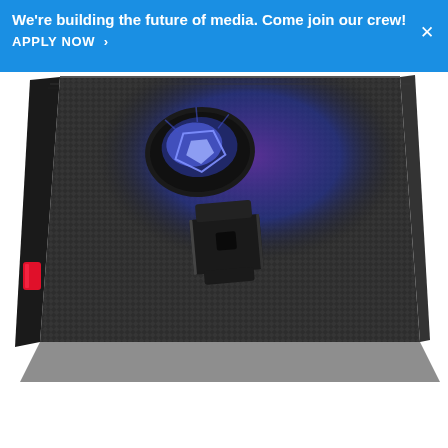We're building the future of media. Come join our crew! APPLY NOW >
[Figure (photo): Close-up angled rear view of an ASUS ROG gaming phone/tablet showing carbon fiber texture back panel, ROG logo with blue/purple RGB lighting, a black mounting bracket accessory in the center, and a red accent piece on the left edge.]